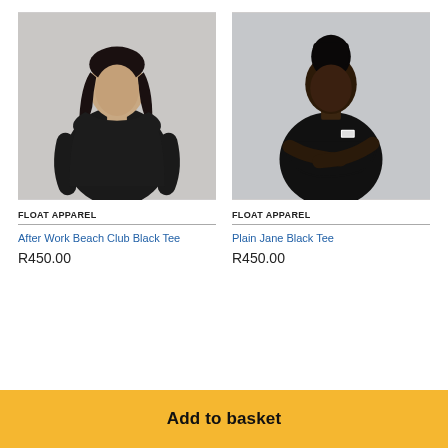[Figure (photo): Young man with long dark hair wearing a black t-shirt with a small logo on the chest, standing against a light grey background.]
FLOAT APPAREL
After Work Beach Club Black Tee
R450.00
[Figure (photo): Young Black man with high-top hair, arms crossed, wearing a black t-shirt with a small white label on the chest, standing against a light grey background.]
FLOAT APPAREL
Plain Jane Black Tee
R450.00
Add to basket